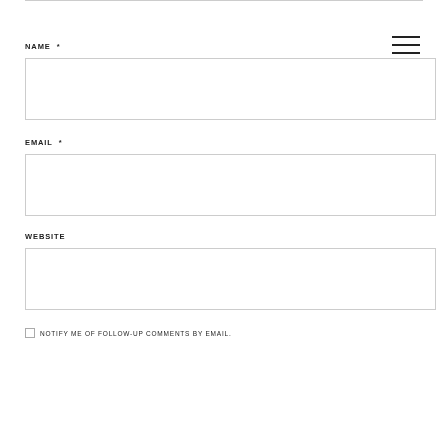NAME *
EMAIL *
WEBSITE
NOTIFY ME OF FOLLOW-UP COMMENTS BY EMAIL.